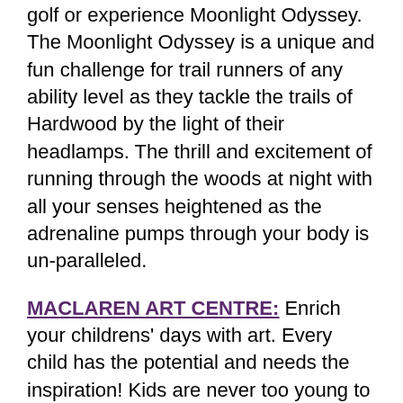golf or experience Moonlight Odyssey. The Moonlight Odyssey is a unique and fun challenge for trail runners of any ability level as they tackle the trails of Hardwood by the light of their headlamps. The thrill and excitement of running through the woods at night with all your senses heightened as the adrenaline pumps through your body is un-paralleled.
MACLAREN ART CENTRE: Enrich your childrens' days with art. Every child has the potential and needs the inspiration! Kids are never too young to learn art appreciation.
SUPERBLUE'S THE GIANT KNITTING NANCY: In partnership with the MacLaren's Youth Advisory Council and TGIF, Superblue's The Giant Knitting Nancy community arts project will be recreated for